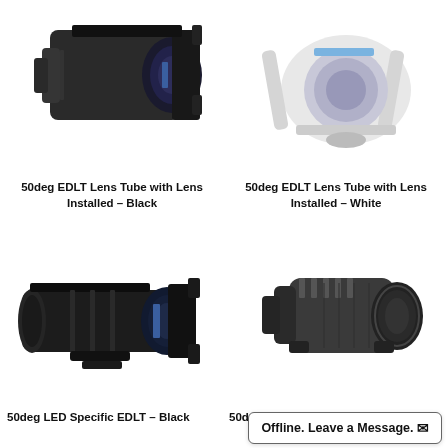[Figure (photo): 50deg EDLT Lens Tube with Lens Installed – Black, top portion cropped]
[Figure (photo): 50deg EDLT Lens Tube with Lens Installed – White, top portion cropped]
50deg EDLT Lens Tube with Lens Installed – Black
50deg EDLT Lens Tube with Lens Installed – White
[Figure (photo): 50deg LED Specific EDLT – Black, full lens tube view]
[Figure (photo): 50deg Lens Tube with Lens, partial view]
50deg LED Specific EDLT – Black
50deg Lens Tube with Lens
Offline. Leave a Message.